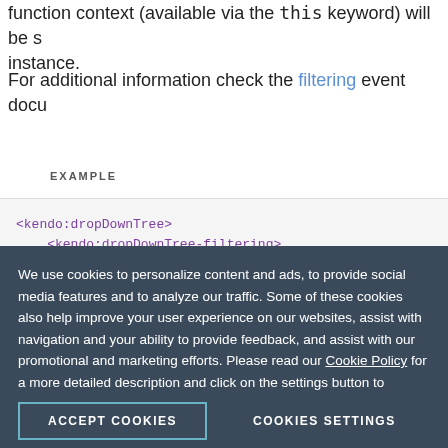function context (available via the this keyword) will be set to the instance.
For additional information check the filtering event docu...
EXAMPLE
[Figure (screenshot): Code block showing kendo:dropDownTree XML with a script tag containing function(e) { // Code to handle the filtering event. }]
We use cookies to personalize content and ads, to provide social media features and to analyze our traffic. Some of these cookies also help improve your user experience on our websites, assist with navigation and your ability to provide feedback, and assist with our promotional and marketing efforts. Please read our Cookie Policy for a more detailed description and click on the settings button to customize how the site uses cookies for you.
ACCEPT COOKIES
COOKIES SETTINGS